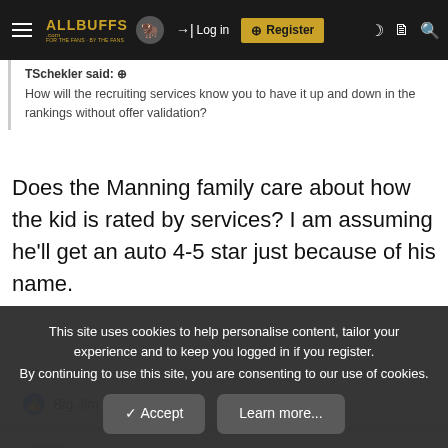AllBuffs.com navigation bar with Log in, Register, and icon buttons
TSchekler said: How will the recruiting services know you to have it up and down in the rankings without offer validation?
Does the Manning family care about how the kid is rated by services? I am assuming he'll get an auto 4-5 star just because of his name.
👍 Big Jim
BuffBronco
Well-Known Member
Jun 23, 2022   #20
This site uses cookies to help personalise content, tailor your experience and to keep you logged in if you register.
By continuing to use this site, you are consenting to our use of cookies.
✓ Accept   Learn more...